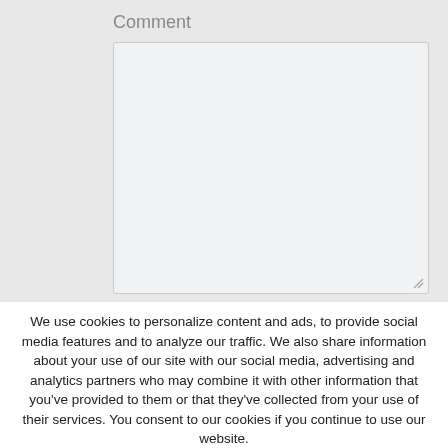Comment
[Figure (screenshot): A large empty textarea input field with light gray background and resize handle in bottom-right corner]
We use cookies to personalize content and ads, to provide social media features and to analyze our traffic. We also share information about your use of our site with our social media, advertising and analytics partners who may combine it with other information that you've provided to them or that they've collected from your use of their services. You consent to our cookies if you continue to use our website.
Accept